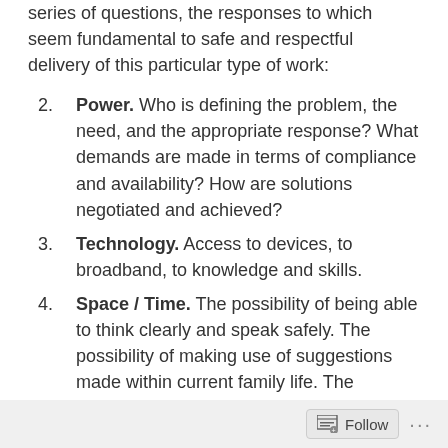series of questions, the responses to which seem fundamental to safe and respectful delivery of this particular type of work:
Power. Who is defining the problem, the need, and the appropriate response? What demands are made in terms of compliance and availability? How are solutions negotiated and achieved?
Technology. Access to devices, to broadband, to knowledge and skills.
Space / Time. The possibility of being able to think clearly and speak safely. The possibility of making use of suggestions made within current family life. The possibility of escape.
Monitoring of risk and safety. Awareness of coercive and controlling behaviours and their impact on the
Follow